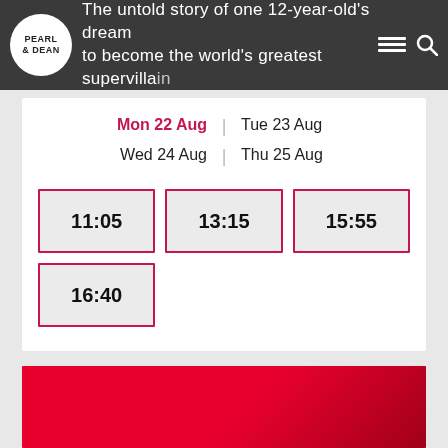The untold story of one 12-year-old's dream to become the world's greatest supervillain
Mon 22 Aug | Tue 23 Aug
Wed 24 Aug | Thu 25 Aug
11:05
13:15
15:55
16:40
[Figure (other): Red gradient banner section at the bottom of the page]